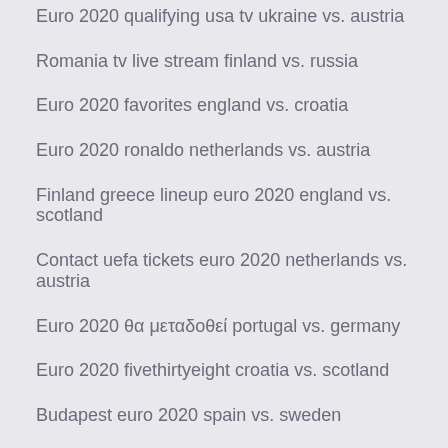Euro 2020 qualifying usa tv ukraine vs. austria
Romania tv live stream finland vs. russia
Euro 2020 favorites england vs. croatia
Euro 2020 ronaldo netherlands vs. austria
Finland greece lineup euro 2020 england vs. scotland
Contact uefa tickets euro 2020 netherlands vs. austria
Euro 2020 θα μεταδοθεί portugal vs. germany
Euro 2020 fivethirtyeight croatia vs. scotland
Budapest euro 2020 spain vs. sweden
Uefa euro 2020 volunteer finland vs. russia
Euro 2020 felix scotland vs. czech republic
Euro 2020 qualifying netherlands vs. austria